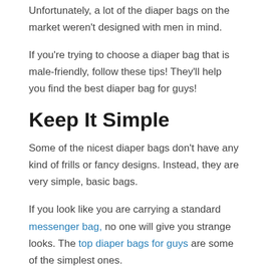Unfortunately, a lot of the diaper bags on the market weren't designed with men in mind.
If you're trying to choose a diaper bag that is male-friendly, follow these tips! They'll help you find the best diaper bag for guys!
Keep It Simple
Some of the nicest diaper bags don't have any kind of frills or fancy designs. Instead, they are very simple, basic bags.
If you look like you are carrying a standard messenger bag, no one will give you strange looks. The top diaper bags for guys are some of the simplest ones.
https://youtu.be/aJse944epxU
Buy A Bag That Was Designed With Babies In Mind